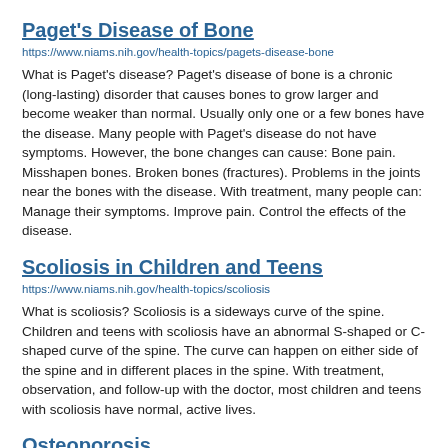Paget's Disease of Bone
https://www.niams.nih.gov/health-topics/pagets-disease-bone
What is Paget's disease? Paget's disease of bone is a chronic (long-lasting) disorder that causes bones to grow larger and become weaker than normal. Usually only one or a few bones have the disease. Many people with Paget's disease do not have symptoms. However, the bone changes can cause: Bone pain. Misshapen bones. Broken bones (fractures). Problems in the joints near the bones with the disease. With treatment, many people can: Manage their symptoms. Improve pain. Control the effects of the disease.
Scoliosis in Children and Teens
https://www.niams.nih.gov/health-topics/scoliosis
What is scoliosis? Scoliosis is a sideways curve of the spine. Children and teens with scoliosis have an abnormal S-shaped or C-shaped curve of the spine. The curve can happen on either side of the spine and in different places in the spine. With treatment, observation, and follow-up with the doctor, most children and teens with scoliosis have normal, active lives.
Osteoporosis
https://www.niams.nih.gov/health-topics/osteoporosis